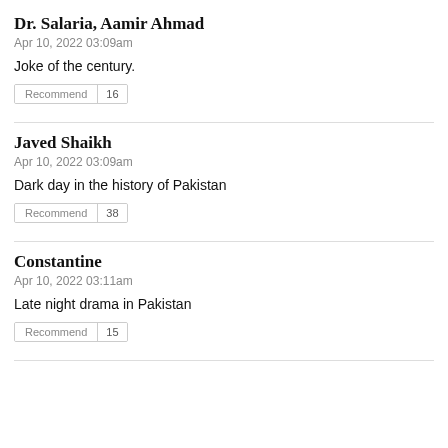Dr. Salaria, Aamir Ahmad
Apr 10, 2022 03:09am
Joke of the century.
Recommend | 16
Javed Shaikh
Apr 10, 2022 03:09am
Dark day in the history of Pakistan
Recommend | 38
Constantine
Apr 10, 2022 03:11am
Late night drama in Pakistan
Recommend | 15